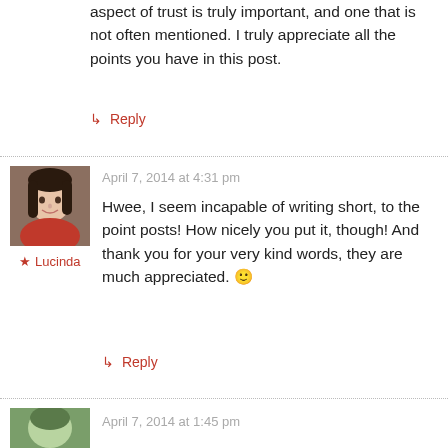aspect of trust is truly important, and one that is not often mentioned. I truly appreciate all the points you have in this post.
↳ Reply
April 7, 2014 at 4:31 pm
[Figure (photo): Profile photo of Lucinda, a woman in a red jacket with dark hair, smiling]
★ Lucinda
Hwee, I seem incapable of writing short, to the point posts! How nicely you put it, though! And thank you for your very kind words, they are much appreciated. 🙂
↳ Reply
April 7, 2014 at 1:45 pm